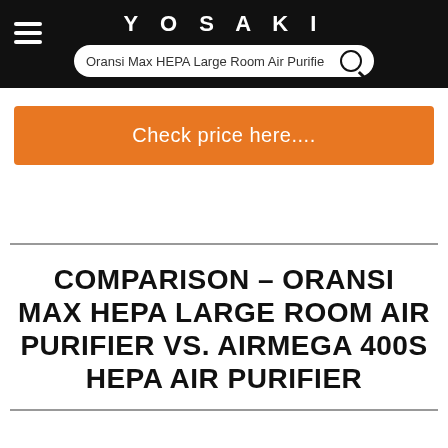YOSAKI
[Figure (screenshot): Search bar with text: Oransi Max HEPA Large Room Air Purifier and a search icon]
Check price here....
COMPARISON – ORANSI MAX HEPA LARGE ROOM AIR PURIFIER VS. AIRMEGA 400S HEPA AIR PURIFIER